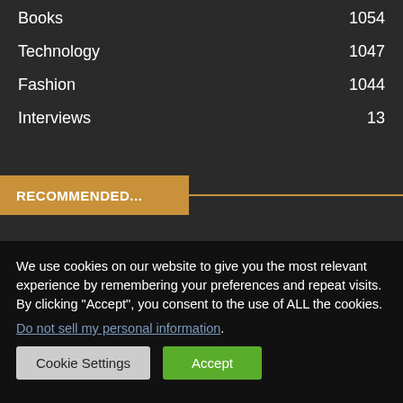Books    1054
Technology    1047
Fashion    1044
Interviews    13
RECOMMENDED...
We use cookies on our website to give you the most relevant experience by remembering your preferences and repeat visits. By clicking “Accept”, you consent to the use of ALL the cookies.
Do not sell my personal information.
Cookie Settings   Accept